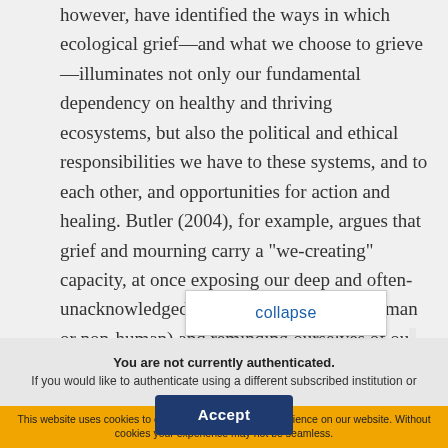however, have identified the ways in which ecological grief—and what we choose to grieve—illuminates not only our fundamental dependency on healthy and thriving ecosystems, but also the political and ethical responsibilities we have to these systems, and to each other, and opportunities for action and healing. Butler (2004), for example, argues that grief and mourning carry a "we-creating" capacity, at once exposing our deep and often-unacknowledged connections to others (human or non-human) and reminding ourselves of ou[r responsibilit]ies to mitigate
collapse
You are not currently authenticated. If you would like to authenticate using a different subscribed institution or
This website uses cookies to ensure you get the best experience on our website. Without cookies your experience may not be seamless.
Accept